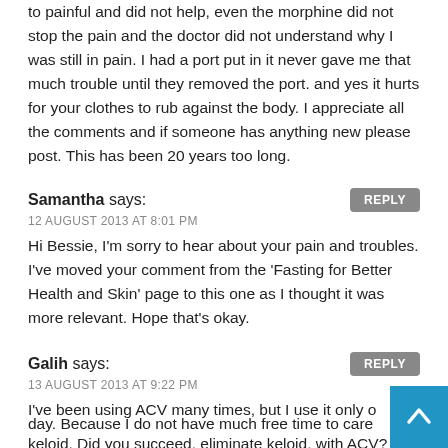to painful and did not help, even the morphine did not stop the pain and the doctor did not understand why I was still in pain. I had a port put in it never gave me that much trouble until they removed the port. and yes it hurts for your clothes to rub against the body. I appreciate all the comments and if someone has anything new please post. This has been 20 years too long.
Samantha says: 12 AUGUST 2013 AT 8:01 PM — Hi Bessie, I'm sorry to hear about your pain and troubles. I've moved your comment from the 'Fasting for Better Health and Skin' page to this one as I thought it was more relevant. Hope that's okay.
Galih says: 13 AUGUST 2013 AT 9:22 PM — I've been using ACV many times, but I use it only once a day. Because I do not have much free time to care my keloid. Did you succeed, eliminate keloid, with ACV? how